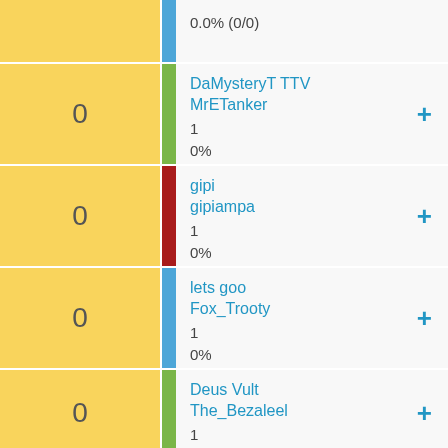0.0% (0/0)
DaMysteryT TTV
MrETanker
1
0%
0.0% (0/0)
gipi
gipiampa
1
0%
0.0% (0/0)
lets goo
Fox_Trooty
1
0%
0.0% (0/0)
Deus Vult
The_Bezaleel
1